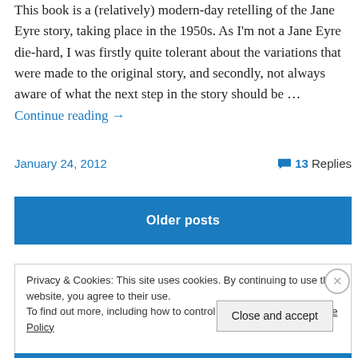This book is a (relatively) modern-day retelling of the Jane Eyre story, taking place in the 1950s. As I'm not a Jane Eyre die-hard, I was firstly quite tolerant about the variations that were made to the original story, and secondly, not always aware of what the next step in the story should be … Continue reading →
January 24, 2012    💬 13 Replies
Older posts
Privacy & Cookies: This site uses cookies. By continuing to use this website, you agree to their use.
To find out more, including how to control cookies, see here: Cookie Policy
Close and accept